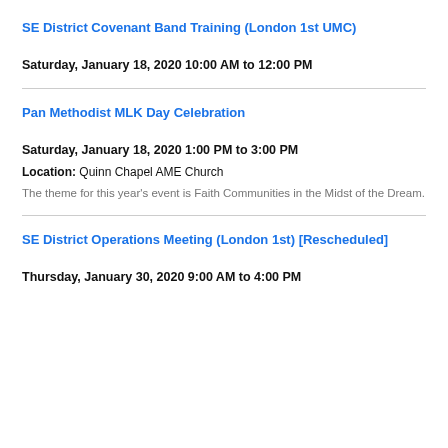SE District Covenant Band Training (London 1st UMC)
Saturday, January 18, 2020 10:00 AM to 12:00 PM
Pan Methodist MLK Day Celebration
Saturday, January 18, 2020 1:00 PM to 3:00 PM
Location: Quinn Chapel AME Church
The theme for this year's event is Faith Communities in the Midst of the Dream.
SE District Operations Meeting (London 1st) [Rescheduled]
Thursday, January 30, 2020 9:00 AM to 4:00 PM